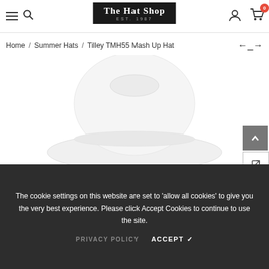The Hat Shop EST. 1987 — navigation header with hamburger menu, search, user icon, and cart (0 items)
Home / Summer Hats / Tilley TMH55 Mash Up Hat
[Figure (photo): Product image of Tilley TMH55 Mash Up Hat — white sun hat shown from above on white background]
The cookie settings on this website are set to 'allow all cookies' to give you the very best experience. Please click Accept Cookies to continue to use the site.
PRIVACY POLICY   ACCEPT ✔